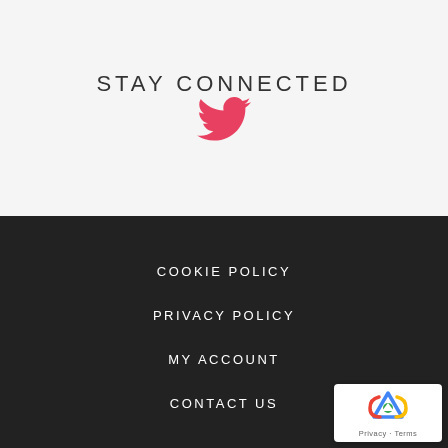STAY CONNECTED
[Figure (logo): Twitter bird icon in pink/red color]
COOKIE POLICY
PRIVACY POLICY
MY ACCOUNT
CONTACT US
[Figure (other): Google reCAPTCHA badge with Privacy and Terms links]